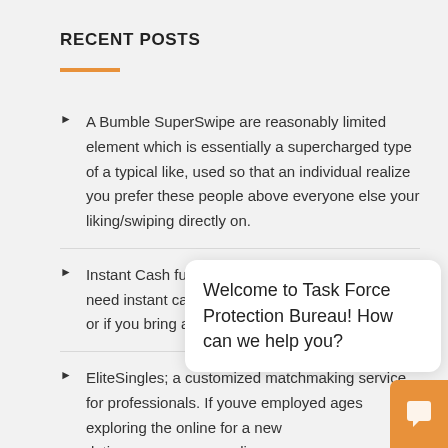RECENT POSTS
A Bumble SuperSwipe are reasonably limited element which is essentially a supercharged type of a typical like, used so that an individual realize you prefer these people above everyone else your liking/swiping directly on.
Instant Cash funding in 1 hour sera for those who need instant cash in the instance of a cash crisis or if you bring a
EliteSingles; a customized matchmaking service for professionals. If youve employed ages exploring the online for a new dati gauge discov
The good qualities about the fantastic news. benefits of online dating the cougar.
Welcome to Task Force Protection Bureau! How can we help you?